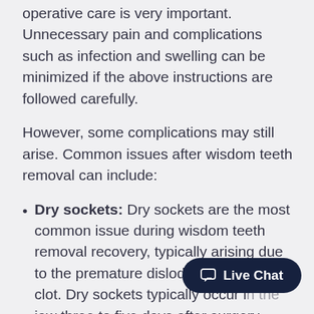operative care is very important. Unnecessary pain and complications such as infection and swelling can be minimized if the above instructions are followed carefully.
However, some complications may still arise. Common issues after wisdom teeth removal can include:
Dry sockets: Dry sockets are the most common issue during wisdom teeth removal recovery, typically arising due to the premature dislodging of a blood clot. Dry sockets typically occur i… jaw three to five days after surgery, causing aching in the ear that…